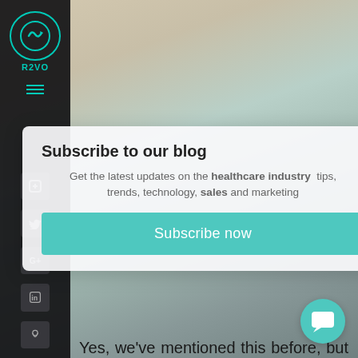[Figure (screenshot): Screenshot of a healthcare blog website with a subscribe popup modal overlay. Background shows a blurred office/meeting scene. Dark left sidebar with REVO logo, hamburger menu, and social media icons (Facebook, Twitter, Google+, LinkedIn, Pinterest). Modal popup contains 'Subscribe to our blog' heading, subtext about healthcare industry tips, and a teal 'Subscribe now' button. Below the modal, body text about nudging doctors with fresh data.]
Subscribe to our blog
Get the latest updates on the healthcare industry  tips, trends, technology, sales and marketing
Subscribe now
Yes, we've mentioned this before, but another nudge won't hurt. If you have a fresh set of data about your product or your competitor's product, make sure to highlight it to the doctor. This is especially relevant to a new product launch, physicians will be significantly more open